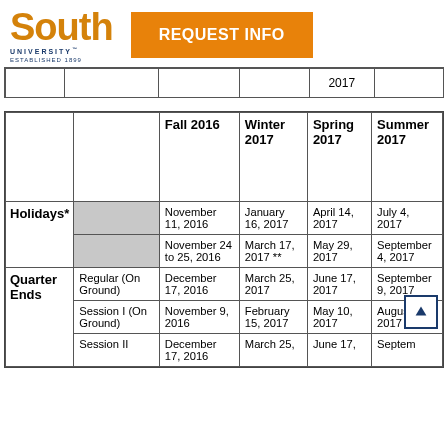South University | REQUEST INFO
|  |  | Fall 2016 | Winter 2017 | Spring 2017 | Summer 2017 |
| --- | --- | --- | --- | --- | --- |
| Holidays* |  | November 11, 2016 | January 16, 2017 | April 14, 2017 | July 4, 2017 |
| Holidays* |  | November 24 to 25, 2016 | March 17, 2017 ** | May 29, 2017 | September 4, 2017 |
| Quarter Ends | Regular (On Ground) | December 17, 2016 | March 25, 2017 | June 17, 2017 | September 9, 2017 |
| Quarter Ends | Session I (On Ground) | November 9, 2016 | February 15, 2017 | May 10, 2017 | August 2, 2017 |
| Quarter Ends | Session II | December 17, 2016 | March 25, 2017 | June 17, 2017 | Septem... |